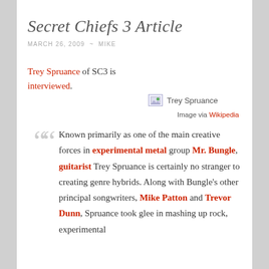Secret Chiefs 3 Article
MARCH 26, 2009 ~ MIKE
Trey Spruance of SC3 is interviewed.
[Figure (photo): Trey Spruance image placeholder with caption 'Image via Wikipedia']
Known primarily as one of the main creative forces in experimental metal group Mr. Bungle, guitarist Trey Spruance is certainly no stranger to creating genre hybrids. Along with Bungle's other principal songwriters, Mike Patton and Trevor Dunn, Spruance took glee in mashing up rock, experimental